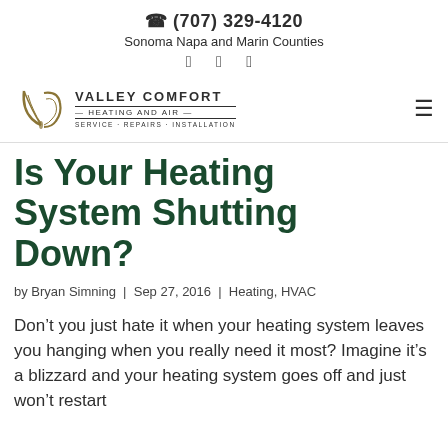(707) 329-4120 | Sonoma Napa and Marin Counties
[Figure (logo): Valley Comfort Heating and Air logo with stylized VC monogram and text: VALLEY COMFORT HEATING AND AIR — SERVICE · REPAIRS · INSTALLATION]
Is Your Heating System Shutting Down?
by Bryan Simning | Sep 27, 2016 | Heating, HVAC
Don't you just hate it when your heating system leaves you hanging when you really need it most? Imagine it's a blizzard and your heating system goes off and just won't restart